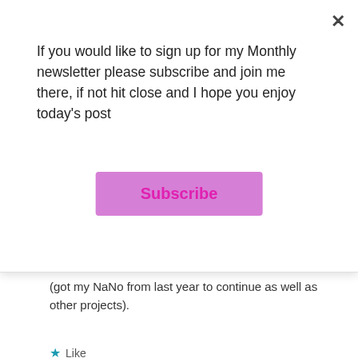If you would like to sign up for my Monthly newsletter please subscribe and join me there, if not hit close and I hope you enjoy today's post
[Figure (other): Subscribe button (pink/lavender colored button with magenta text)]
(got my NaNo from last year to continue as well as other projects).
★ Like
Reply
Vikki (The View Outside)
OCTOBER 25, 2012 AT 3:24 PM